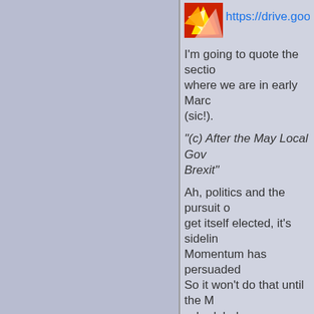[Figure (illustration): Colorful avatar/icon image with comic-style design in red, yellow, white colors]
https://drive.google...
I'm going to quote the section where we are in early March (sic!).
"(c) After the May Local Go... Brexit"
Ah, politics and the pursuit of get itself elected, it's sidelin... Momentum has persuaded So it won't do that until the M scheduled.
here's the text
--
Brexit: Seven months to got...
Here are the milestones:
1. Phase one written agreem...
2. Phase 2 agreement Octo...